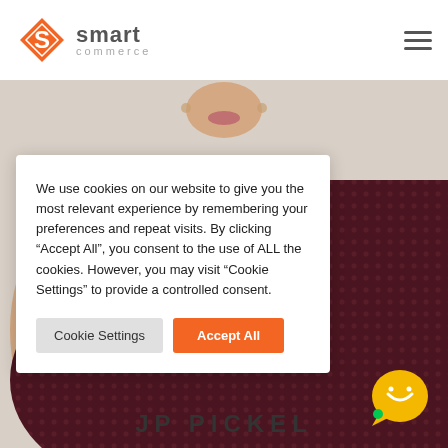[Figure (logo): Smart Commerce logo with orange diamond S icon and text 'smart commerce']
[Figure (photo): Person wearing dark patterned top, cropped to show lower face, shoulders and torso. Background is light grey/beige studio backdrop.]
We use cookies on our website to give you the most relevant experience by remembering your preferences and repeat visits. By clicking “Accept All”, you consent to the use of ALL the cookies. However, you may visit “Cookie Settings” to provide a controlled consent.
Cookie Settings
Accept All
[Figure (illustration): Yellow/gold chat bubble widget icon with green dot indicator in bottom left corner]
JP PICKEL